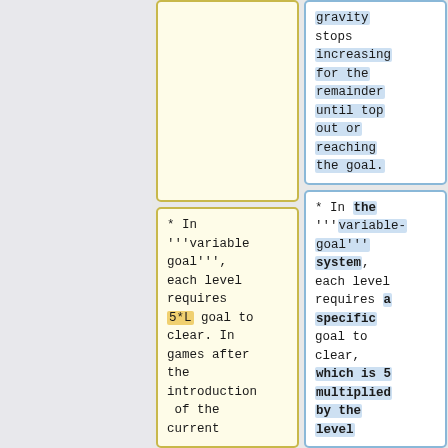gravity stops increasing for the remainder until top out or reaching the goal.
* In '''variable goal''', each level requires 5*L goal to clear. In games after the introduction of the current
* In the '''variable-goal''' system, each level requires a specific goal to clear, which is 5 multiplied by the level